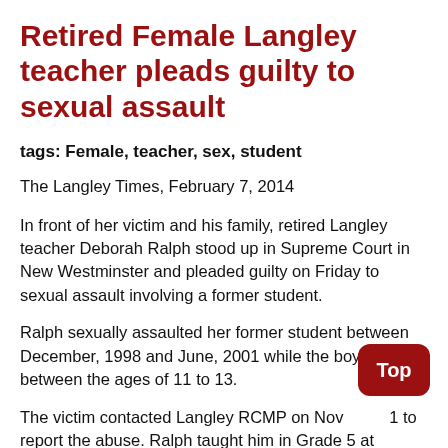Retired Female Langley teacher pleads guilty to sexual assault
tags: Female, teacher, sex, student
The Langley Times, February 7, 2014
In front of her victim and his family, retired Langley teacher Deborah Ralph stood up in Supreme Court in New Westminster and pleaded guilty on Friday to sexual assault involving a former student.
Ralph sexually assaulted her former student between December, 1998 and June, 2001 while the boy was between the ages of 11 to 13.
The victim contacted Langley RCMP on Nov 1 to report the abuse. Ralph taught him in Grade 5 at